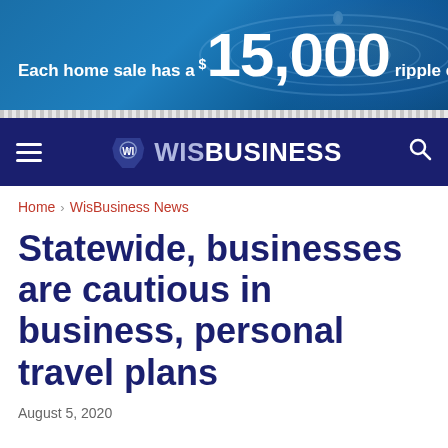[Figure (other): Banner advertisement with blue water ripple background. Text reads: 'Each home sale has a $15,000 ripple effect o']
[Figure (other): WisBusiness.com website navigation bar with dark navy background, hamburger menu icon on left, WisBusiness logo in center, and search icon on right]
Home › WisBusiness News
Statewide, businesses are cautious in business, personal travel plans
August 5, 2020